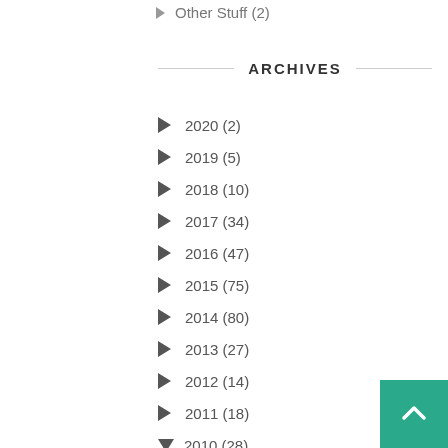Other Stuff (2)
ARCHIVES
2020 (2)
2019 (5)
2018 (10)
2017 (34)
2016 (47)
2015 (75)
2014 (80)
2013 (27)
2012 (14)
2011 (18)
2010 (28)
December (4)